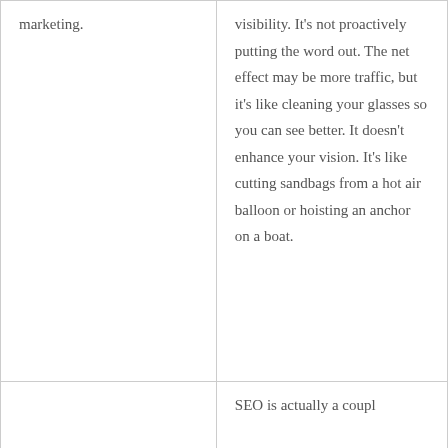marketing.
visibility. It's not proactively putting the word out. The net effect may be more traffic, but it's like cleaning your glasses so you can see better. It doesn't enhance your vision. It's like cutting sandbags from a hot air balloon or hoisting an anchor on a boat.
SEO is actually a couple...